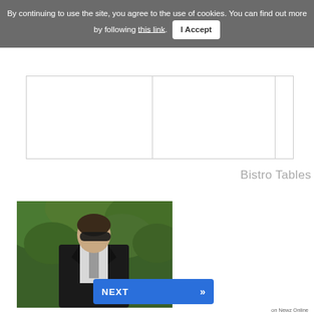By continuing to use the site, you agree to the use of cookies. You can find out more by following this link. I Accept
[Figure (other): Placeholder ad banner area with two white rectangular cells divided by vertical lines]
Bistro Tables
[Figure (photo): A man in a dark suit and white shirt with grey tie wearing sunglasses, photographed outdoors with green foliage in background]
NEXT »
on Newz Online